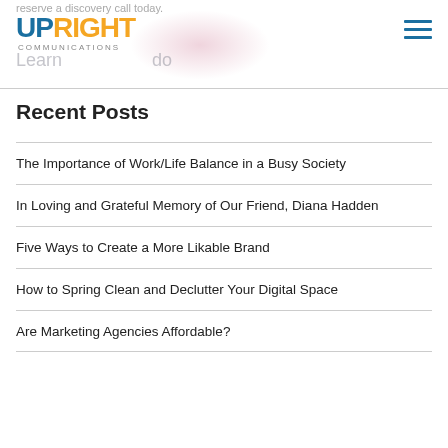reserve a discovery call today.
[Figure (logo): Upright Communications logo with blue UP and orange RIGHT text, COMMUNICATIONS subtitle, pink blob decoration, hamburger menu icon]
Recent Posts
The Importance of Work/Life Balance in a Busy Society
In Loving and Grateful Memory of Our Friend, Diana Hadden
Five Ways to Create a More Likable Brand
How to Spring Clean and Declutter Your Digital Space
Are Marketing Agencies Affordable?